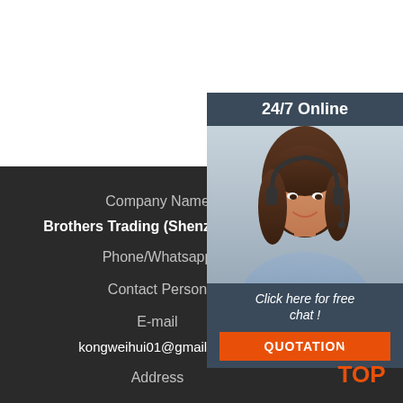[Figure (infographic): 24/7 Online customer service widget with a photo of a woman with headset, 'Click here for free chat!' text and orange QUOTATION button]
Company Name
Brothers Trading (Shenzhen) Pt...
Phone/Whatsapp
Contact Person
E-mail
kongweihui01@gmail.com
Address
[Figure (logo): TOP logo with orange arc and dots above orange text 'TOP']